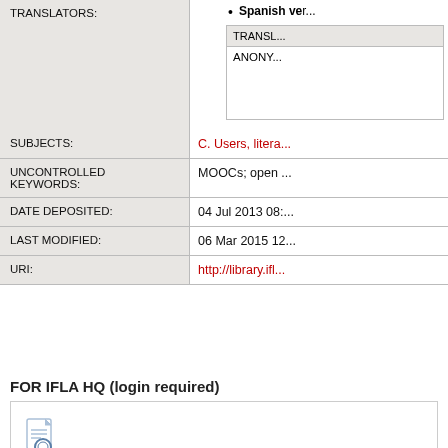| Field | Value |
| --- | --- |
| TRANSLATORS: |  |
| SUBJECTS: | C. Users, litera... |
| UNCONTROLLED KEYWORDS: | MOOCs; open ... |
| DATE DEPOSITED: | 04 Jul 2013 08:... |
| LAST MODIFIED: | 06 Mar 2015 12... |
| URI: | http://library.ifl... |
Spanish ver...
| TRANSL... |
| --- |
| ANONY... |
FOR IFLA HQ (login required)
[Figure (other): Search/magnify document icon]